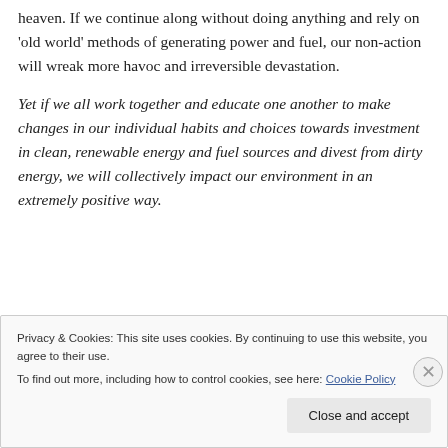heaven. If we continue along without doing anything and rely on 'old world' methods of generating power and fuel, our non-action will wreak more havoc and irreversible devastation.
Yet if we all work together and educate one another to make changes in our individual habits and choices towards investment in clean, renewable energy and fuel sources and divest from dirty energy, we will collectively impact our environment in an extremely positive way.
Privacy & Cookies: This site uses cookies. By continuing to use this website, you agree to their use.
To find out more, including how to control cookies, see here: Cookie Policy
Close and accept